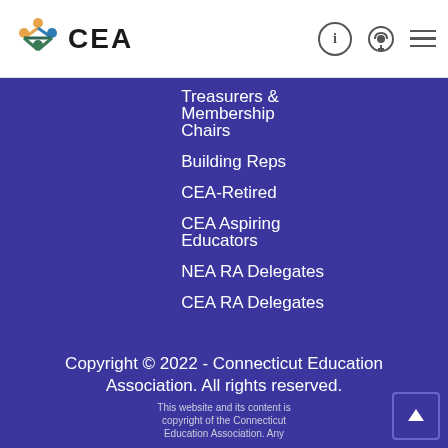CEA - Connecticut Education Association
Treasurers & Membership Chairs
Building Reps
CEA-Retired
CEA Aspiring Educators
NEA RA Delegates
CEA RA Delegates
Copyright © 2022 - Connecticut Education Association. All rights reserved. This website and its content is copyright of the Connecticut Education Association. Any...